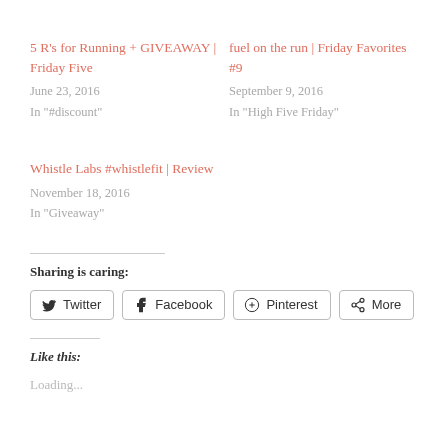5 R's for Running + GIVEAWAY | Friday Five
June 23, 2016
In "#discount"
fuel on the run | Friday Favorites #9
September 9, 2016
In "High Five Friday"
Whistle Labs #whistlefit | Review
November 18, 2016
In "Giveaway"
Sharing is caring:
Twitter  Facebook  Pinterest  More
Like this:
Loading...